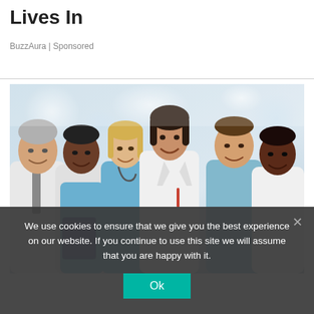Lives In
BuzzAura | Sponsored
[Figure (photo): Group of five smiling medical professionals in white coats and blue scrubs posed in a hospital corridor]
We use cookies to ensure that we give you the best experience on our website. If you continue to use this site we will assume that you are happy with it.